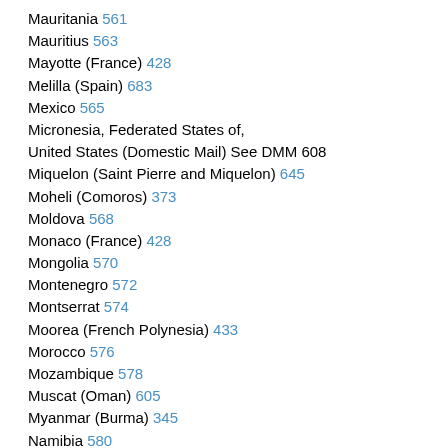Mauritania 561
Mauritius 563
Mayotte (France) 428
Melilla (Spain) 683
Mexico 565
Micronesia, Federated States of, United States (Domestic Mail) See DMM 608
Miquelon (Saint Pierre and Miquelon) 645
Moheli (Comoros) 373
Moldova 568
Monaco (France) 428
Mongolia 570
Montenegro 572
Montserrat 574
Moorea (French Polynesia) 433
Morocco 576
Mozambique 578
Muscat (Oman) 605
Myanmar (Burma) 345
Namibia 580
Nansil Islands (Japan) 498
Nauru 582